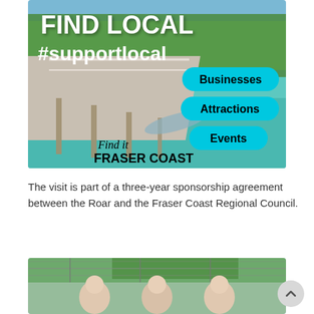[Figure (photo): Aerial photo of a waterfront pier/jetty with turquoise water and trees in background. Overlaid text reads FIND LOCAL #supportlocal with buttons for Businesses, Attractions, Events and Find it FRASER COAST branding.]
The visit is part of a three-year sponsorship agreement between the Roar and the Fraser Coast Regional Council.
[Figure (photo): Photo of three men smiling outdoors near a sports field with trees and fence in background.]